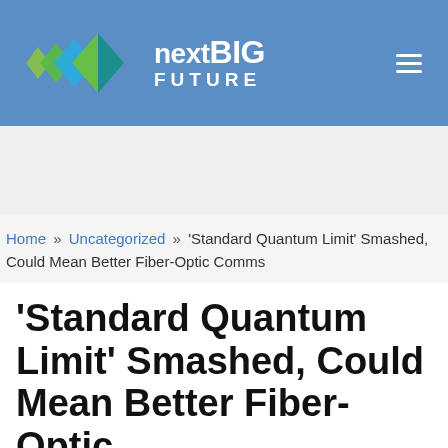nextBIG FUTURE
Home » Uncategorized » ‘Standard Quantum Limit’ Smashed, Could Mean Better Fiber-Optic Comms
‘Standard Quantum Limit’ Smashed, Could Mean Better Fiber-Optic